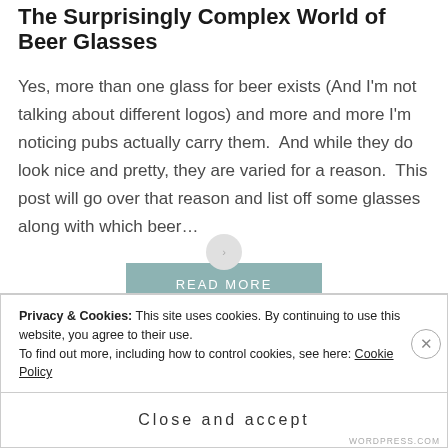The Surprisingly Complex World of Beer Glasses
Yes, more than one glass for beer exists (And I'm not talking about different logos) and more and more I'm noticing pubs actually carry them.  And while they do look nice and pretty, they are varied for a reason.  This post will go over that reason and list off some glasses along with which beer…
READ MORE
Privacy & Cookies: This site uses cookies. By continuing to use this website, you agree to their use.
To find out more, including how to control cookies, see here: Cookie Policy
Close and accept